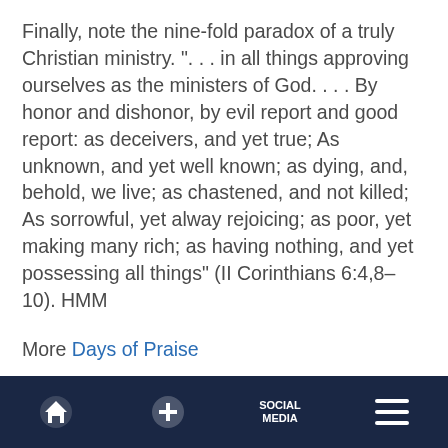Finally, note the nine-fold paradox of a truly Christian ministry. ". . . in all things approving ourselves as the ministers of God. . . . By honor and dishonor, by evil report and good report: as deceivers, and yet true; As unknown, and yet well known; as dying, and, behold, we live; as chastened, and not killed; As sorrowful, yet alway rejoicing; as poor, yet making many rich; as having nothing, and yet possessing all things" (II Corinthians 6:4,8–10). HMM
More Days of Praise
[navigation bar with home, plus, social media, menu icons]